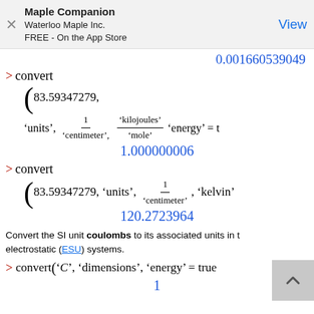Maple Companion
Waterloo Maple Inc.
FREE - On the App Store
View
0.00166053904​9
1.000000006
120.2723964
Convert the SI unit coulombs to its associated units in the electrostatic (ESU) systems.
1